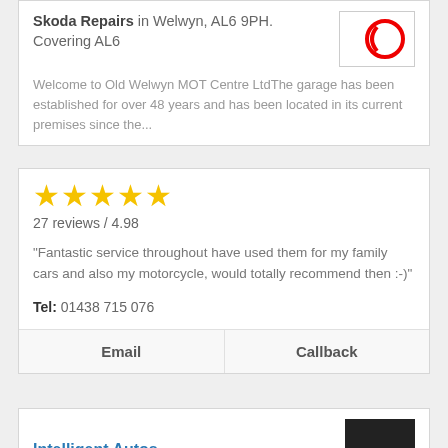Skoda Repairs in Welwyn, AL6 9PH. Covering AL6
Welcome to Old Welwyn MOT Centre LtdThe garage has been established for over 48 years and has been located in its current premises since the...
27 reviews / 4.98
"Fantastic service throughout have used them for my family cars and also my motorcycle, would totally recommend then :-)"
Tel: 01438 715 076
Email
Callback
Intelligent Autos